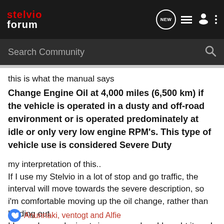stelvio forum [NEW] [list icon] [user icon] [more icon]
Search Community
this is what the manual says
Change Engine Oil at 4,000 miles (6,500 km) if the vehicle is operated in a dusty and off-road environment or is operated predominately at idle or only very low engine RPM’s. This type of vehicle use is considered Severe Duty
my interpretation of this..
If I use my Stelvio in a lot of stop and go traffic, the interval will move towards the severe description, so i'm comfortable moving up the oil change, rather than holding out.
I have changed mine twice, once when I bought it, so I knew for sure, and once again at about 4500. I figure I'll do it regardless of mileage in January.
Anunnaki, ventogt and Alfie